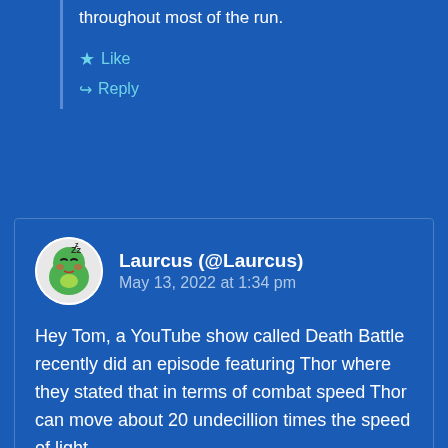throughout most of the run.
Like
Reply
Laurcus (@Laurcus)
May 13, 2022 at 1:34 pm
Hey Tom, a YouTube show called Death Battle recently did an episode featuring Thor where they stated that in terms of combat speed Thor can move about 20 undecillion times the speed of light. https://i.gyazo.com/5cc74b631d8e59468bb4017070b8a8d3.jpg